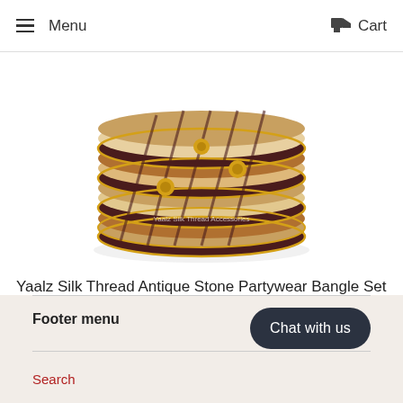Menu  Cart
[Figure (photo): Stack of silk thread bangles with antique gold stone embellishments in brown and beige colors, arranged as a set, with a watermark reading 'Yaalz Silk Thread Accessories'.]
Yaalz Silk Thread Antique Stone Partywear Bangle Set In Brown & Beige Colors
YAALZ
from Rs. 400.00
Footer menu
Search
Chat with us